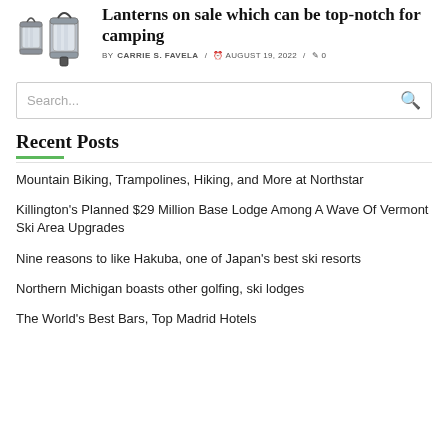[Figure (photo): Two camping lanterns, silver cylindrical style]
Lanterns on sale which can be top-notch for camping
BY CARRIE S. FAVELA / AUGUST 19, 2022 / 0
Search...
Recent Posts
Mountain Biking, Trampolines, Hiking, and More at Northstar
Killington's Planned $29 Million Base Lodge Among A Wave Of Vermont Ski Area Upgrades
Nine reasons to like Hakuba, one of Japan's best ski resorts
Northern Michigan boasts other golfing, ski lodges
The World's Best Bars, Top Madrid Hotels